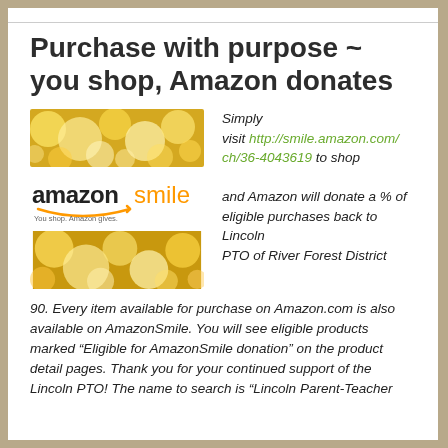Purchase with purpose ~ you shop, Amazon donates
[Figure (logo): AmazonSmile logo with two bokeh/sparkle decorative images above and below it]
Simply visit http://smile.amazon.com/ch/36-4043619 to shop and Amazon will donate a % of eligible purchases back to Lincoln PTO of River Forest District 90. Every item available for purchase on Amazon.com is also available on AmazonSmile. You will see eligible products marked “Eligible for AmazonSmile donation” on the product detail pages. Thank you for your continued support of the Lincoln PTO! The name to search is “Lincoln Parent-Teacher